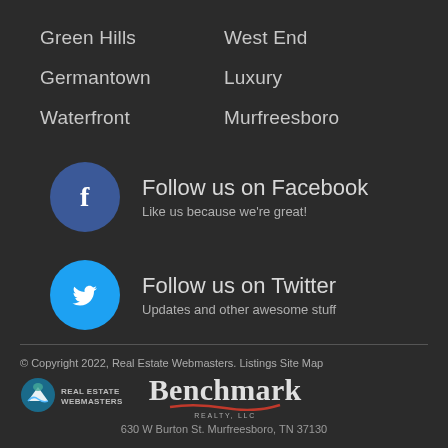Green Hills
West End
Germantown
Luxury
Waterfront
Murfreesboro
[Figure (logo): Facebook circular logo icon (blue circle with white f)]
Follow us on Facebook
Like us because we're great!
[Figure (logo): Twitter circular logo icon (cyan circle with white bird)]
Follow us on Twitter
Updates and other awesome stuff
© Copyright 2022, Real Estate Webmasters. Listings Site Map
[Figure (logo): Real Estate Webmasters logo]
[Figure (logo): Benchmark Realty LLC logo with red swoosh]
630 W Burton St. Murfreesboro, TN 37130